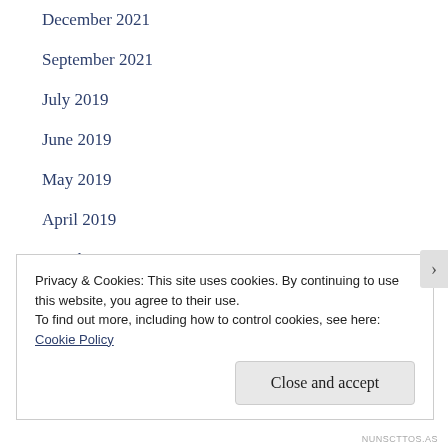December 2021
September 2021
July 2019
June 2019
May 2019
April 2019
March 2019
February 2019
January 2019
Privacy & Cookies: This site uses cookies. By continuing to use this website, you agree to their use.
To find out more, including how to control cookies, see here: Cookie Policy
Close and accept